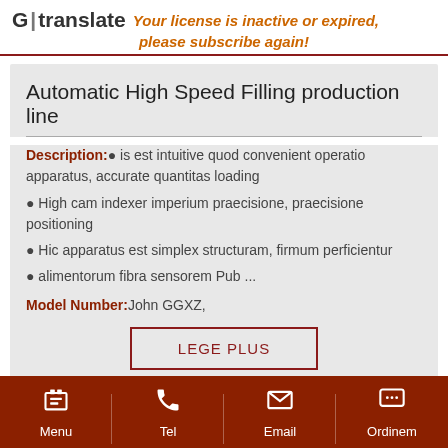G|translate Your license is inactive or expired, please subscribe again!
Automatic High Speed Filling production line
Description:• is est intuitive quod convenient operatio apparatus, accurate quantitas loading
• High cam indexer imperium praecisione, praecisione positioning
• Hic apparatus est simplex structuram, firmum perficientur
• alimentorum fibra sensorem Pub ...
Model Number:John GGXZ,
LEGE PLUS
Menu  Tel  Email  Ordinem